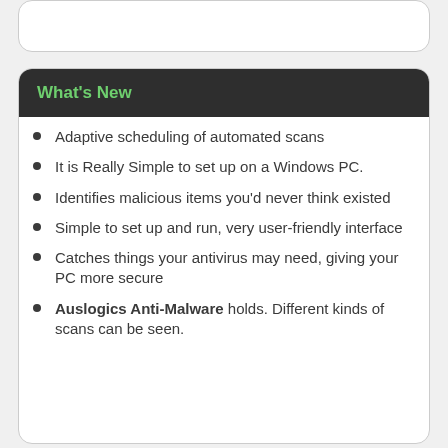What's New
Adaptive scheduling of automated scans
It is Really Simple to set up on a Windows PC.
Identifies malicious items you'd never think existed
Simple to set up and run, very user-friendly interface
Catches things your antivirus may need, giving your PC more secure
Auslogics Anti-Malware holds. Different kinds of scans can be seen.